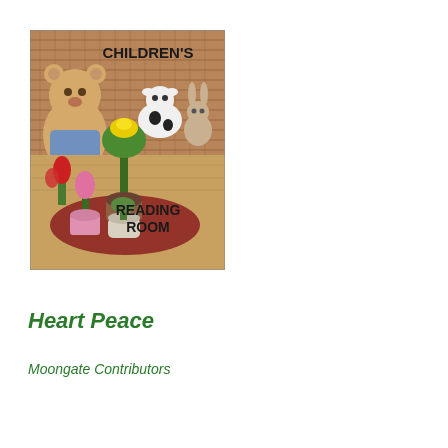[Figure (illustration): Book cover for Children's Reading Room showing stuffed animals (a teddy bear in a blue outfit, a cow, and a bunny) on a woven background, with potted plants including a yellow lily and a red tulip in the foreground. Text on the image reads 'CHILDREN'S' at the top and 'READING ROOM' at the bottom.]
Heart Peace
Moongate Contributors